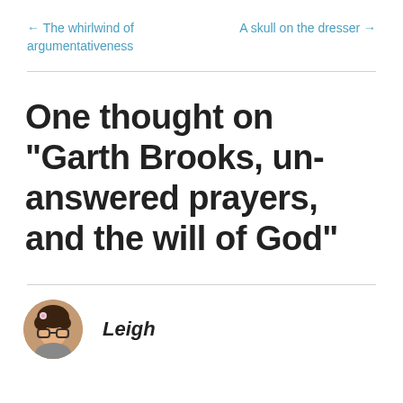← The whirlwind of argumentativeness
A skull on the dresser →
One thought on “Garth Brooks, un-answered prayers, and the will of God”
Leigh